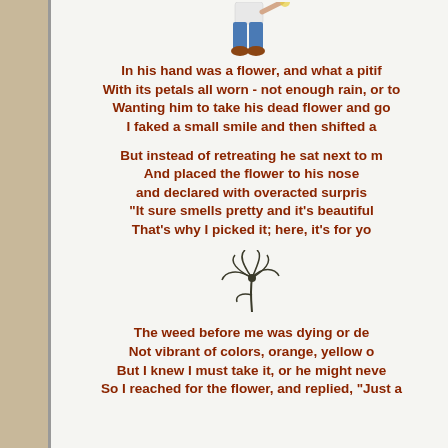[Figure (illustration): Partial illustration of a boy/person figure at top of page, cropped, showing lower body with blue jeans]
In his hand was a flower, and what a pitif
With its petals all worn - not enough rain, or to
Wanting him to take his dead flower and go
I faked a small smile and then shifted a
But instead of retreating he sat next to m
And placed the flower to his nose
and declared with overacted surpris
"It sure smells pretty and it's beautiful
That's why I picked it; here, it's for yo
[Figure (illustration): Illustration of a wilted or dead flower/weed with drooping petals]
The weed before me was dying or de
Not vibrant of colors, orange, yellow o
But I knew I must take it, or he might neve
So I reached for the flower, and replied, "Just a